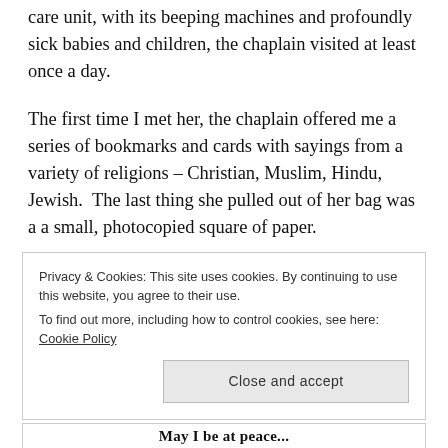care unit, with its beeping machines and profoundly sick babies and children, the chaplain visited at least once a day.
The first time I met her, the chaplain offered me a series of bookmarks and cards with sayings from a variety of religions – Christian, Muslim, Hindu, Jewish.  The last thing she pulled out of her bag was a a small, photocopied square of paper.
Privacy & Cookies: This site uses cookies. By continuing to use this website, you agree to their use.
To find out more, including how to control cookies, see here: Cookie Policy
Close and accept
May I be at peace...